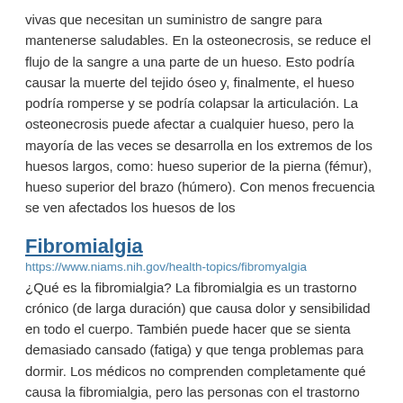vivas que necesitan un suministro de sangre para mantenerse saludables. En la osteonecrosis, se reduce el flujo de la sangre a una parte de un hueso. Esto podría causar la muerte del tejido óseo y, finalmente, el hueso podría romperse y se podría colapsar la articulación. La osteonecrosis puede afectar a cualquier hueso, pero la mayoría de las veces se desarrolla en los extremos de los huesos largos, como: hueso superior de la pierna (fémur), hueso superior del brazo (húmero). Con menos frecuencia se ven afectados los huesos de los
Fibromialgia
https://www.niams.nih.gov/health-topics/fibromyalgia
¿Qué es la fibromialgia? La fibromialgia es un trastorno crónico (de larga duración) que causa dolor y sensibilidad en todo el cuerpo. También puede hacer que se sienta demasiado cansado (fatiga) y que tenga problemas para dormir. Los médicos no comprenden completamente qué causa la fibromialgia, pero las personas con el trastorno son más sensibles al dolor.
Osteoporosis
https://www.niams.nih.gov/health-topics/osteoporosis
¿Qué es la osteoporosis? La osteoporosis es una enfermedad que